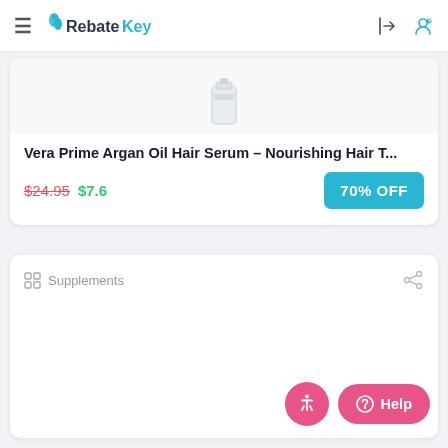RebateKey
Vera Prime Argan Oil Hair Serum – Nourishing Hair T...
$24.95 $7.6
70% OFF
Supplements
Help